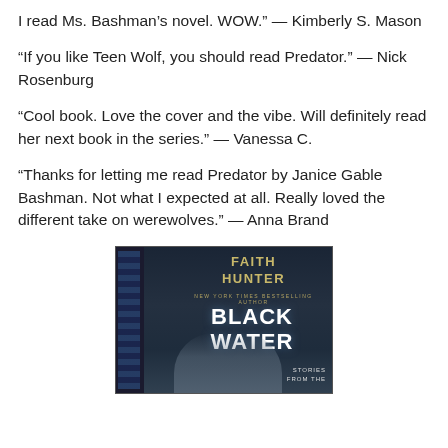I read Ms. Bashman’s novel. WOW.” — Kimberly S. Mason
“If you like Teen Wolf, you should read Predator.” — Nick Rosenburg
“Cool book. Love the cover and the vibe. Will definitely read her next book in the series.” — Vanessa C.
“Thanks for letting me read Predator by Janice Gable Bashman. Not what I expected at all. Really loved the different take on werewolves.” — Anna Brand
[Figure (photo): Book cover for 'Black Water' by Faith Hunter, New York Times Bestselling Author. Dark blue/teal cover with the author name in gold letters and the title in large white bold letters. Text at bottom right reads 'Stories From The'. Left side has a decorative blue pattern strip.]